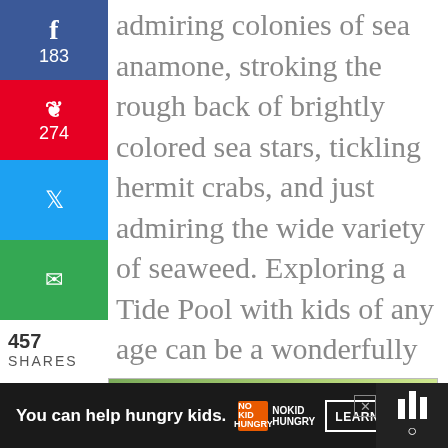admiring colonies of sea anamone, stroking the rough back of brightly colored sea stars, tickling hermit crabs, and just admiring the wide variety of seaweed. Exploring a Tide Pool with kids of any age can be a wonderfully educational experience. Here are some resources that might be helpful to you as you prepare for a day by the surf.
[Figure (screenshot): Social media sharing sidebar with Facebook (183 shares), Pinterest (274 pins), Twitter, and email buttons. Total 457 SHARES shown below.]
[Figure (photo): Advertisement image showing bokeh green outdoor background with cupped hands, overlaid with a close X button.]
[Figure (screenshot): Bottom advertisement banner on dark background reading: 'You can help hungry kids.' with No Kid Hungry logo and LEARN HOW button. Weather widget on far right showing bars and temperature symbol.]